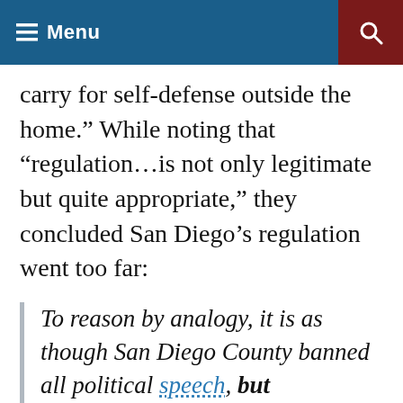Menu
carry for self-defense outside the home.” While noting that “regulation…is not only legitimate but quite appropriate,” they concluded San Diego’s regulation went too far:
To reason by analogy, it is as though San Diego County banned all political speech, but exempted from this restriction